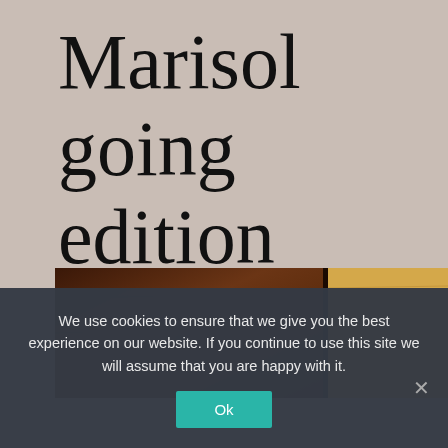Marisol going edition
[Figure (photo): Close-up photograph of wooden surfaces — a dark brown wood panel on the left and a lighter pine/birch wood panel on the right, with a dark gap between them.]
We use cookies to ensure that we give you the best experience on our website. If you continue to use this site we will assume that you are happy with it.